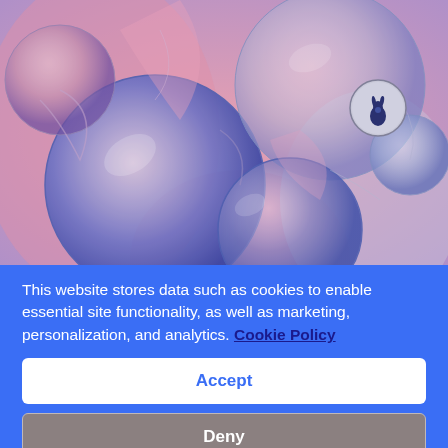[Figure (photo): Close-up macro photograph of soap bubbles or liquid bubbles with pink, blue, and lavender colors. A small circular logo with a rabbit/bunny silhouette is visible in the upper right area of the image.]
This website stores data such as cookies to enable essential site functionality, as well as marketing, personalization, and analytics. Cookie Policy
Accept
Deny